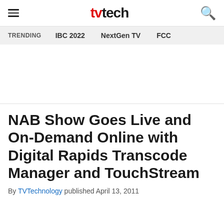tvtech — NAB Show Goes Live and On-Demand Online with Digital Rapids Transcode Manager and TouchStream
NAB Show Goes Live and On-Demand Online with Digital Rapids Transcode Manager and TouchStream
By TVTechnology published April 13, 2011